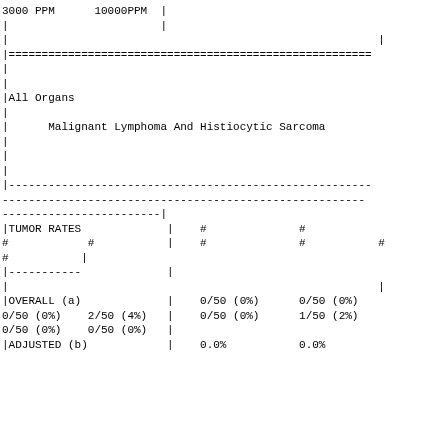| 3000 PPM | 10000PPM |  |  |  |  |
| --- | --- | --- | --- | --- | --- |
| | |  | | |  |  |  |
| | |  |  |  |  | | |
| |=============================================== |  |  |  |  |  |
| | |  |  |  |  |  |
| | |  |  |  |  |  |
| |All Organs |  |  |  |  |  |
| | |  |  |  |  |  |
| | | Malignant Lymphoma And Histiocytic Sarcoma |  |  |  |  |
| | |  |  |  |  |  |
| | |  |  |  |  |  |
| | |  |  |  |  |  |
| |--------------------------------------------------- |  |  |  |  |  |
| --------------------------------------------------- |  |  |  |  |  |
| ------------------------| |  |  |  |  |  |
| |TUMOR RATES |  | | | # |  | # |
| # | # | | | # |  | # | # |
| # | | |  |  |  |  |
| |----------- |  | | |  |  |  |
| | |  |  |  |  | | |
| |OVERALL (a) |  | | | 0/50 (0%) |  | 0/50 (0%) |
| 0/50 (0%) | 2/50 (4%) | | | 0/50 (0%) |  | 1/50 (2%) |
| 0/50 (0%) | 0/50 (0%) | | |  |  |  |
| |ADJUSTED (b) |  | | | 0.0% |  | 0.0% |